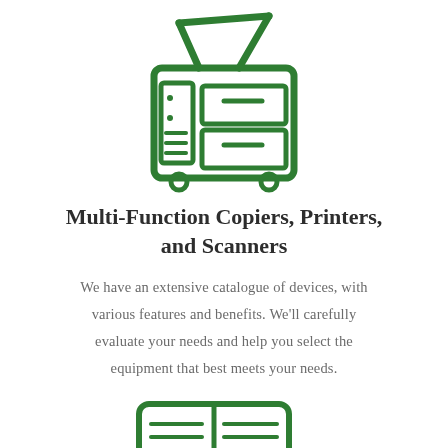[Figure (illustration): Green line icon of a multi-function copier/printer with document feeder open at top, paper trays on the right side, and wheels at the bottom]
Multi-Function Copiers, Printers, and Scanners
We have an extensive catalogue of devices, with various features and benefits. We'll carefully evaluate your needs and help you select the equipment that best meets your needs.
[Figure (illustration): Green line icon of a document/book with magnifying glass, showing pages with text lines]